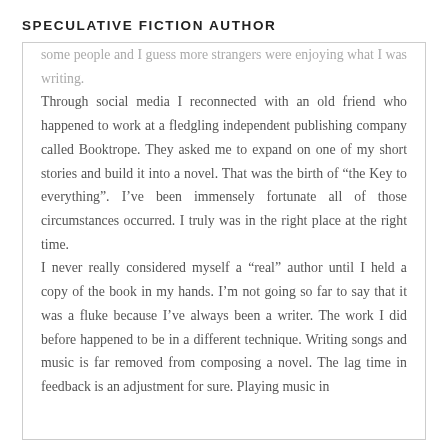SPECULATIVE FICTION AUTHOR
some people and I guess more strangers were enjoying what I was writing. Through social media I reconnected with an old friend who happened to work at a fledgling independent publishing company called Booktrope. They asked me to expand on one of my short stories and build it into a novel. That was the birth of “the Key to everything”. I’ve been immensely fortunate all of those circumstances occurred. I truly was in the right place at the right time. I never really considered myself a “real” author until I held a copy of the book in my hands. I’m not going so far to say that it was a fluke because I’ve always been a writer. The work I did before happened to be in a different technique. Writing songs and music is far removed from composing a novel. The lag time in feedback is an adjustment for sure. Playing music in